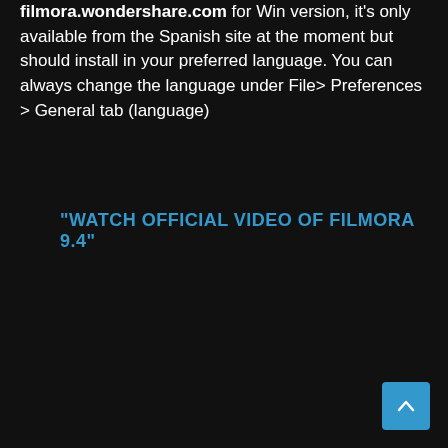filmora.wondershare.com for Win version, it's only available from the Spanish site at the moment but should install in your preferred language. You can always change the language under File> Preferences > General tab (language)
"WATCH OFFICIAL VIDEO OF FILMORA 9.4"